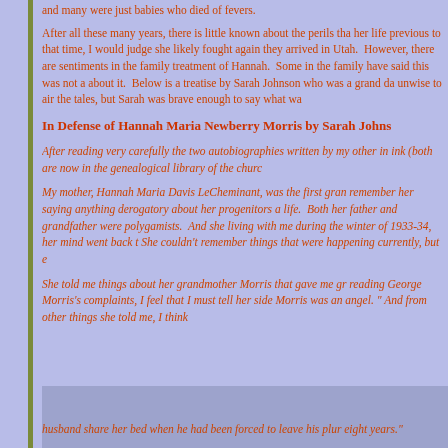and many were just babies who died of fevers.
After all these many years, there is little known about the perils that her life previous to that time, I would judge she likely fought again they arrived in Utah.  However, there are sentiments in the family treatment of Hannah.  Some in the family have said this was not a about it.  Below is a treatise by Sarah Johnson who was a grand da unwise to air the tales, but Sarah was brave enough to say what wa
In Defense of Hannah Maria Newberry Morris by Sarah Johns
After reading very carefully the two autobiographies written by my other in ink (both are now in the genealogical library of the churc
My mother, Hannah Maria Davis LeCheminant, was the first gran remember her saying anything derogatory about her progenitors a life.  Both her father and grandfather were polygamists.  And she living with me during the winter of 1933-34, her mind went back t She couldn't remember things that were happening currently, but e
She told me things about her grandmother Morris that gave me gr reading George Morris's complaints, I feel that I must tell her side Morris was an angel."  And from other things she told me, I think husband share her bed when he had been forced to leave his plur eight years."